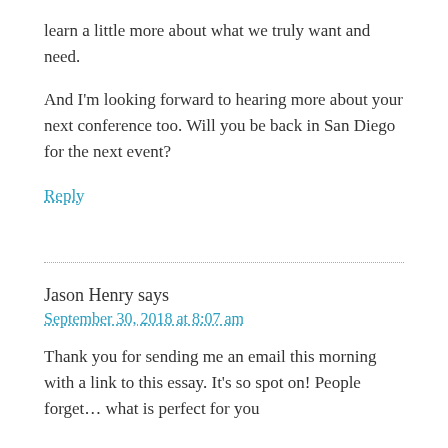learn a little more about what we truly want and need.
And I'm looking forward to hearing more about your next conference too. Will you be back in San Diego for the next event?
Reply
Jason Henry says
September 30, 2018 at 8:07 am
Thank you for sending me an email this morning with a link to this essay. It's so spot on! People forget… what is perfect for you